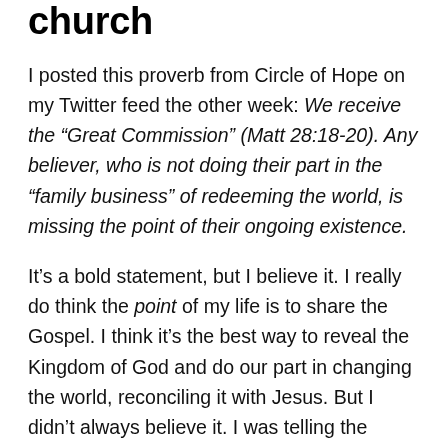church
I posted this proverb from Circle of Hope on my Twitter feed the other week: We receive the “Great Commission” (Matt 28:18-20). Any believer, who is not doing their part in the “family business” of redeeming the world, is missing the point of their ongoing existence.
It’s a bold statement, but I believe it. I really do think the point of my life is to share the Gospel. I think it’s the best way to reveal the Kingdom of God and do our part in changing the world, reconciling it with Jesus. But I didn’t always believe it. I was telling the Seminarian’s Cohort the other night in our discussion about “insiders